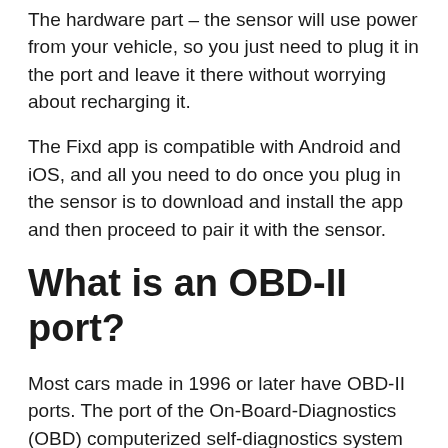The hardware part – the sensor will use power from your vehicle, so you just need to plug it in the port and leave it there without worrying about recharging it.
The Fixd app is compatible with Android and iOS, and all you need to do once you plug in the sensor is to download and install the app and then proceed to pair it with the sensor.
What is an OBD-II port?
Most cars made in 1996 or later have OBD-II ports. The port of the On-Board-Diagnostics (OBD) computerized self-diagnostics system will grant access to the diagnostics data.
The port is usually located under the